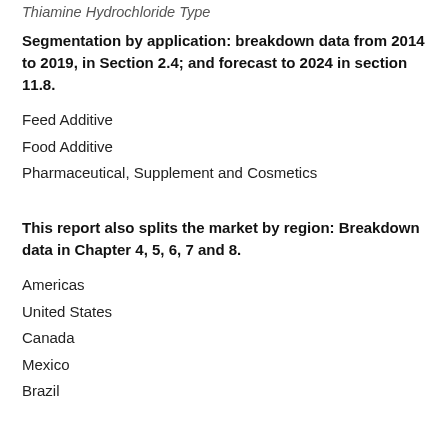Thiamine Hydrochloride Type
Segmentation by application: breakdown data from 2014 to 2019, in Section 2.4; and forecast to 2024 in section 11.8.
Feed Additive
Food Additive
Pharmaceutical, Supplement and Cosmetics
This report also splits the market by region: Breakdown data in Chapter 4, 5, 6, 7 and 8.
Americas
United States
Canada
Mexico
Brazil